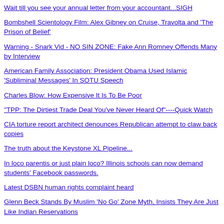Wait till you see your annual letter from your accountant...SIGH
Bombshell Scientology Film: Alex Gibney on Cruise, Travolta and 'The Prison of Belief'
Warning - Snark Vid - NO SIN ZONE: Fake Ann Romney Offends Many by Interview
American Family Association: President Obama Used Islamic 'Subliminal Messages' In SOTU Speech
Charles Blow: How Expensive It Is To Be Poor
"TPP: The Dirtiest Trade Deal You've Never Heard Of"----Quick Watch
CIA torture report architect denounces Republican attempt to claw back copies
The truth about the Keystone XL Pipeline...
In loco parentis or just plain loco? Illinois schools can now demand students' Facebook passwords.
Latest DSBN human rights complaint heard
Glenn Beck Stands By Muslim 'No Go' Zone Myth, Insists They Are Just Like Indian Reservations
Justice Ginsburg Explains Everything You Need To Know About Religious Liberty In Two Sentences
GOP Wi... in Te... Se... To Wa... With Sta... Boa... Ove... Cli...